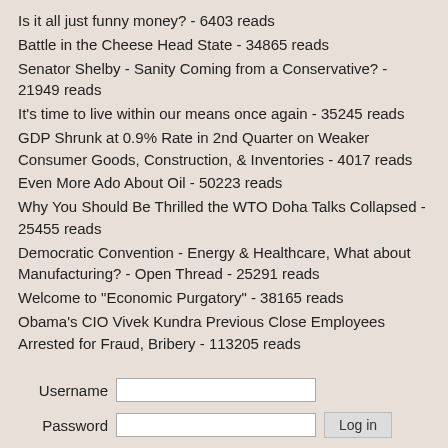Is it all just funny money? - 6403 reads
Battle in the Cheese Head State - 34865 reads
Senator Shelby - Sanity Coming from a Conservative? - 21949 reads
It's time to live within our means once again - 35245 reads
GDP Shrunk at 0.9% Rate in 2nd Quarter on Weaker Consumer Goods, Construction, & Inventories - 4017 reads
Even More Ado About Oil - 50223 reads
Why You Should Be Thrilled the WTO Doha Talks Collapsed - 25455 reads
Democratic Convention - Energy & Healthcare, What about Manufacturing? - Open Thread - 25291 reads
Welcome to "Economic Purgatory" - 38165 reads
Obama's CIO Vivek Kundra Previous Close Employees Arrested for Fraud, Bribery - 113205 reads
Username [input field]
Password [input field] Log in
Request new password